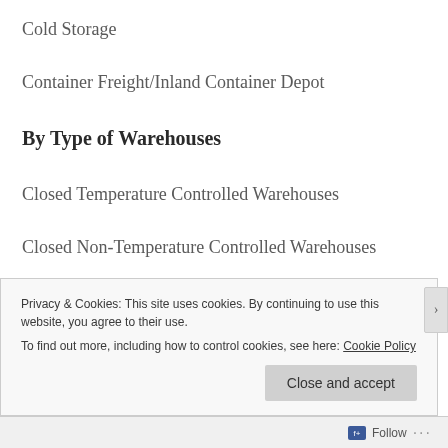Cold Storage
Container Freight/Inland Container Depot
By Type of Warehouses
Closed Temperature Controlled Warehouses
Closed Non-Temperature Controlled Warehouses
Privacy & Cookies: This site uses cookies. By continuing to use this website, you agree to their use.
To find out more, including how to control cookies, see here: Cookie Policy
Close and accept
Follow